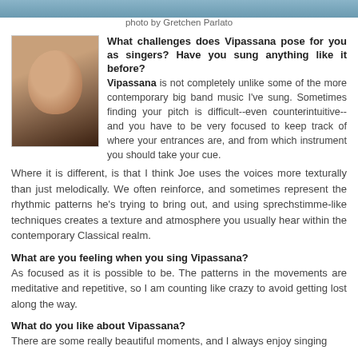[Figure (photo): Partial top image strip, photo of performers]
photo by Gretchen Parlato
[Figure (photo): Portrait photo of a woman with brown hair]
What challenges does Vipassana pose for you as singers? Have you sung anything like it before? Vipassana is not completely unlike some of the more contemporary big band music I've sung. Sometimes finding your pitch is difficult--even counterintuitive--and you have to be very focused to keep track of where your entrances are, and from which instrument you should take your cue.
Where it is different, is that I think Joe uses the voices more texturally than just melodically. We often reinforce, and sometimes represent the rhythmic patterns he's trying to bring out, and using sprechstimme-like techniques creates a texture and atmosphere you usually hear within the contemporary Classical realm.
What are you feeling when you sing Vipassana?
As focused as it is possible to be. The patterns in the movements are meditative and repetitive, so I am counting like crazy to avoid getting lost along the way.
What do you like about Vipassana?
There are some really beautiful moments, and I always enjoy singing